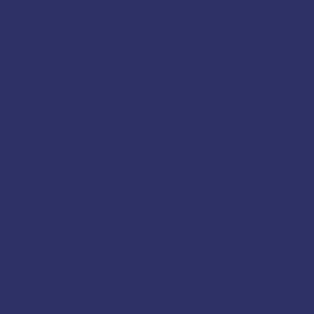thereby learned the fundamentals of flying.
Before he had soloed he had a chance to see how a parachute works; except that the wings had to be covered with new fabric in the back yard of his girl friend's home and his girl friend was probably the first woman to make a parachute jump [several women had made earlier jumps].
While Leonard was in the process of assembling and completed one solo flight. After assembly he consulted a man who also worked at the Higely Motor Company and after adjustments, Leonard made his second solo after it was assembled and rigged. This would have
From this airplane I made a parachute jump. Leonard rode in this old War I relic and many local residents including dipping and dives for added thrills, in this
Harold Saxton of Hardy wanted to make a jump. He crawled out onto the wing, sitting, fastening the cord from the parachute bag to release the parachute; landing in Clancey's pastures. One day Leonard had a passenger passenger happened to be Earl Saxton's
During the early 30's he flew a mail plane, I don't recall the type of plane or the employer. For several years out of Kansas City, Mo. I think the first plane he flew for the mail was later replaced with a tri-motor Ford [it was actually]. Passengers took great delight in riding. As you know, the tri-motor Fords after the airplanes stopped using them, many were converted to cargo planes. Several American pilots were used. Leonard turned down an offer to go to Honduras (